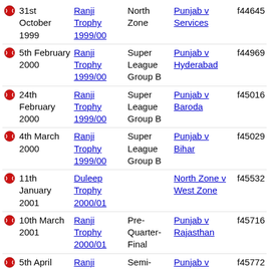|  | Date | Tournament | Round | Match | ID |
| --- | --- | --- | --- | --- | --- |
| ● | 31st October 1999 | Ranji Trophy 1999/00 | North Zone | Punjab v Services | f44645 |
| ● | 5th February 2000 | Ranji Trophy 1999/00 | Super League Group B | Punjab v Hyderabad | f44969 |
| ● | 24th February 2000 | Ranji Trophy 1999/00 | Super League Group B | Punjab v Baroda | f45016 |
| ● | 4th March 2000 | Ranji Trophy 1999/00 | Super League Group B | Punjab v Bihar | f45029 |
| ● | 11th January 2001 | Duleep Trophy 2000/01 |  | North Zone v West Zone | f45532 |
| ● | 10th March 2001 | Ranji Trophy 2000/01 | Pre-Quarter-Final | Punjab v Rajasthan | f45716 |
| ● | 5th April 2001 | Ranji Trophy 2000/01 | Semi-Final | Punjab v Railways | f45772 |
| ● | 1st November 2001 | Ranji Trophy 2001/02 | North Zone | Punjab v Himachal Pradesh | f46090 |
| ● | 3rd | England in | 1st Test | India v | f46198 |